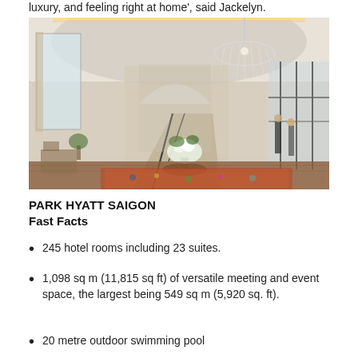luxury, and feeling right at home', said Jackelyn.
[Figure (photo): Elegant hotel lobby interior with grand chandelier, sweeping staircase with ornate wrought-iron railing, hardwood floors, floral centerpiece on round table, colorful rug, and figures near French doors to exterior]
PARK HYATT SAIGON
Fast Facts
245 hotel rooms including 23 suites.
1,098 sq m (11,815 sq ft) of versatile meeting and event space, the largest being 549 sq m (5,920 sq. ft).
20 metre outdoor swimming pool